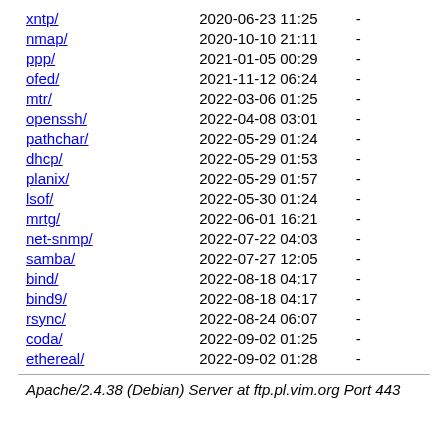| Name | Date | Size |
| --- | --- | --- |
| xntp/ | 2020-06-23 11:25 | - |
| nmap/ | 2020-10-10 21:11 | - |
| ppp/ | 2021-01-05 00:29 | - |
| ofed/ | 2021-11-12 06:24 | - |
| mtr/ | 2022-03-06 01:25 | - |
| openssh/ | 2022-04-08 03:01 | - |
| pathchar/ | 2022-05-29 01:24 | - |
| dhcp/ | 2022-05-29 01:53 | - |
| planix/ | 2022-05-29 01:57 | - |
| lsof/ | 2022-05-30 01:24 | - |
| mrtg/ | 2022-06-01 16:21 | - |
| net-snmp/ | 2022-07-22 04:03 | - |
| samba/ | 2022-07-27 12:05 | - |
| bind/ | 2022-08-18 04:17 | - |
| bind9/ | 2022-08-18 04:17 | - |
| rsync/ | 2022-08-24 06:07 | - |
| coda/ | 2022-09-02 01:25 | - |
| ethereal/ | 2022-09-02 01:28 | - |
Apache/2.4.38 (Debian) Server at ftp.pl.vim.org Port 443